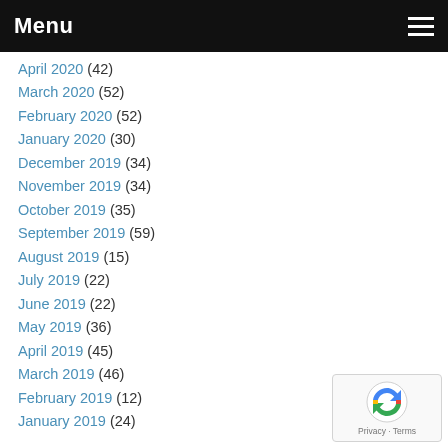Menu
April 2020 (42)
March 2020 (52)
February 2020 (52)
January 2020 (30)
December 2019 (34)
November 2019 (34)
October 2019 (35)
September 2019 (59)
August 2019 (15)
July 2019 (22)
June 2019 (22)
May 2019 (36)
April 2019 (45)
March 2019 (46)
February 2019 (12)
January 2019 (24)